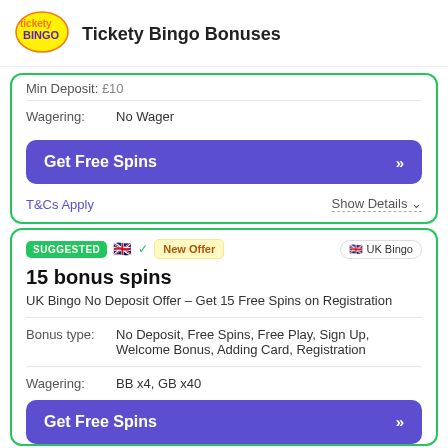Tickety Bingo Bonuses
Min Deposit: £10
Wagering: No Wager
Get Free Spins
T&Cs Apply
Show Details
SUGGESTED | UK flag | New Offer | UK Bingo
15 bonus spins
UK Bingo No Deposit Offer – Get 15 Free Spins on Registration
Bonus type: No Deposit, Free Spins, Free Play, Sign Up, Welcome Bonus, Adding Card, Registration
Wagering: BB x4, GB x40
Get Free Spins